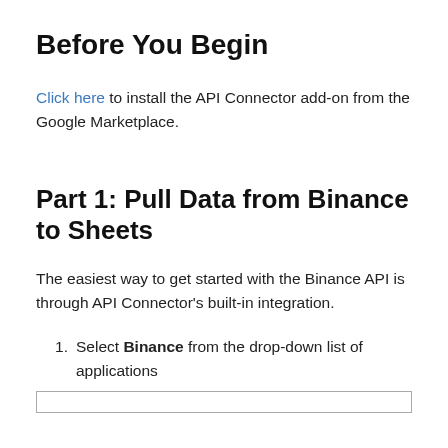Before You Begin
Click here to install the API Connector add-on from the Google Marketplace.
Part 1: Pull Data from Binance to Sheets
The easiest way to get started with the Binance API is through API Connector’s built-in integration.
Select Binance from the drop-down list of applications
[Figure (screenshot): Bottom edge of a screenshot box outline visible at the bottom of the page]